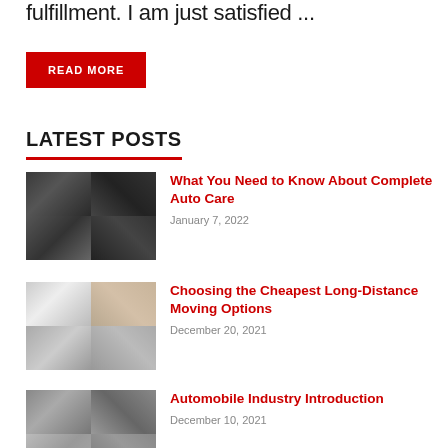fulfillment. I am just satisfied ...
READ MORE
LATEST POSTS
[Figure (photo): Collage of four auto care images showing a mechanic working on a car]
What You Need to Know About Complete Auto Care
January 7, 2022
[Figure (photo): Collage of four moving images showing people moving boxes and furniture]
Choosing the Cheapest Long-Distance Moving Options
December 20, 2021
[Figure (photo): Collage of images related to the automobile industry]
Automobile Industry Introduction
December 10, 2021